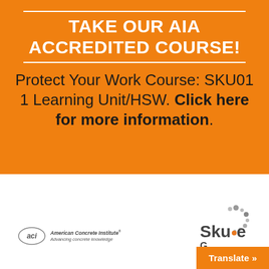TAKE OUR AIA ACCREDITED COURSE!
Protect Your Work Course: SKU01 1 Learning Unit/HSW. Click here for more information.
[Figure (logo): American Concrete Institute logo with circular ACI badge and text 'American Concrete Institute Advancing concrete knowledge']
[Figure (logo): Skudo G logo with dotted circular pattern]
Translate »